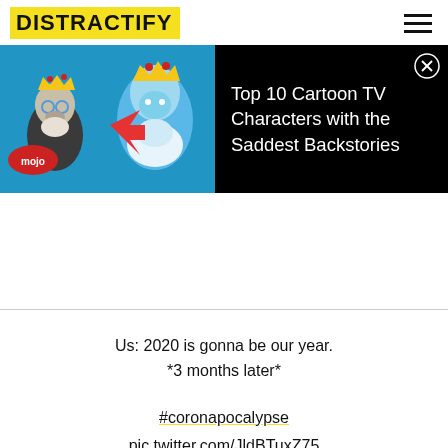DISTRACTIFY
[Figure (screenshot): Ad banner with cartoon characters (Ice King and another character) on dark background with text 'Top 10 Cartoon TV Characters with the Saddest Backstories' and a close button. WatchMojo / mojo branding visible.]
Us: 2020 is gonna be our year.
*3 months later*
#coronapocalypse
pic.twitter.com/JldBTuxZ75
Jenny Z (@Queen_Of_TWD_92)